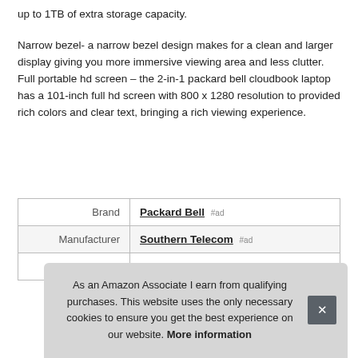up to 1TB of extra storage capacity.
Narrow bezel- a narrow bezel design makes for a clean and larger display giving you more immersive viewing area and less clutter. Full portable hd screen – the 2-in-1 packard bell cloudbook laptop has a 101-inch full hd screen with 800 x 1280 resolution to provided rich colors and clear text, bringing a rich viewing experience.
|  |  |
| --- | --- |
| Brand | Packard Bell #ad |
| Manufacturer | Southern Telecom #ad |
| Model | N1000 |
As an Amazon Associate I earn from qualifying purchases. This website uses the only necessary cookies to ensure you get the best experience on our website. More information